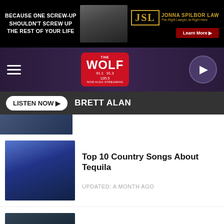[Figure (screenshot): Top advertisement banner: JSL Jonna Spilbor Law ad with text 'BECAUSE ONE SCREW-UP SHOULDN'T SCREW UP THE REST OF YOUR LIFE' and Learn More button]
[Figure (screenshot): The Wolf radio station navigation bar with hamburger menu, Wolf logo (91.1, 91.3, 105.5), and play button]
[Figure (screenshot): Listen Now bar with Brett Alan text]
[Figure (photo): Partial top article image showing performers on stage]
[Figure (photo): Two male country artists performing on stage with blue stage lighting]
Top 10 Country Songs About Tequila
UPDATED: A MONTH AGO
[Figure (photo): Country couple kissing on stage, man wearing cowboy hat, blue stage lighting]
Top 10 Country Songs About Kissing
UPDATED: 2 MONTHS AGO
[Figure (photo): Partial image of performer at bottom of page]
Top 5 Little Jimmy Dickens Songs
[Figure (screenshot): Bottom advertisement banner: JSL Jonna Spilbor Law ad with text 'WHEN "TIL DEATH DO US PART" IS ENTIRELY TOO LONG...' and Learn More button]